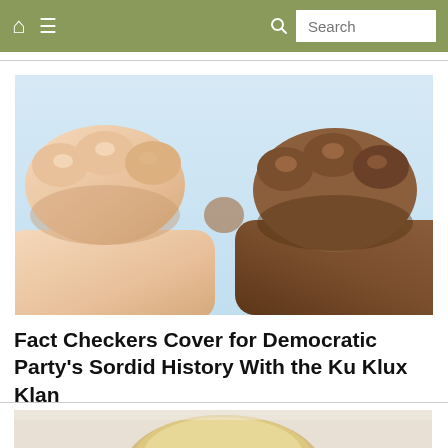Home menu Search
[Figure (photo): Two fists doing a fist bump — one lighter-skinned and one darker-skinned — against a light blue background, symbolizing unity or solidarity.]
Fact Checkers Cover for Democratic Party's Sordid History With the Ku Klux Klan
[Figure (photo): Partial view of second article image showing the top of a person's head with blonde hair.]